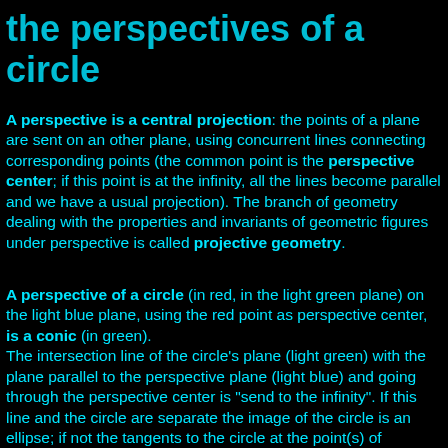the perspectives of a circle
A perspective is a central projection: the points of a plane are sent on an other plane, using concurrent lines connecting corresponding points (the common point is the perspective center; if this point is at the infinity, all the lines become parallel and we have a usual projection). The branch of geometry dealing with the properties and invariants of geometric figures under perspective is called projective geometry.
A perspective of a circle (in red, in the light green plane) on the light blue plane, using the red point as perspective center, is a conic (in green). The intersection line of the circle's plane (light green) with the plane parallel to the perspective plane (light blue) and going through the perspective center is "send to the infinity". If this line and the circle are separate the image of the circle is an ellipse; if not the tangents to the circle at the point(s) of intersection (in yellow) become the "tangents at infinity" to the conic: